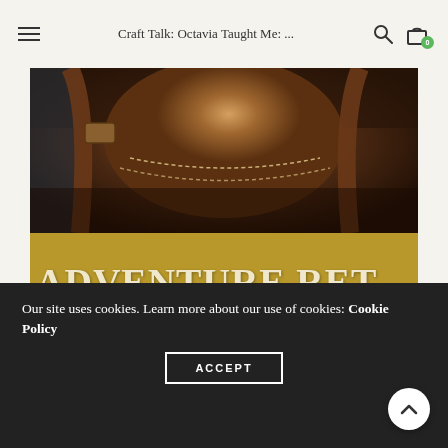Craft Talk: Octavia Taught Me: ...
[Figure (photo): Close-up photograph of brown leather straps or saddle equipment with dark background, showing worn leather texture and stitching details]
[Figure (other): Gold/dark-yellow banner with white serif text reading 'ADVENTURE RET' on first line and 'UGUST 25-28' on second line (text cropped at edges)]
Our site uses cookies. Learn more about our use of cookies: Cookie Policy
ACCEPT